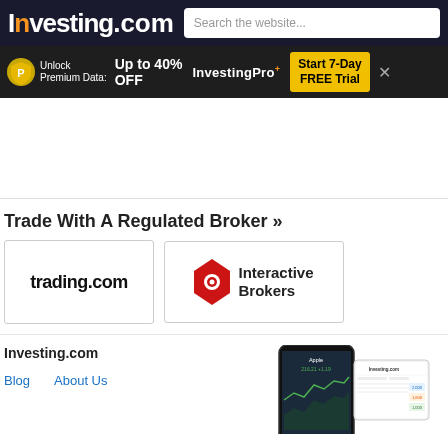Investing.com — Search the website...
[Figure (screenshot): Investing.com promotional banner: Unlock Premium Data Up to 40% OFF InvestingPro+ Start 7-Day FREE Trial]
[Figure (infographic): White/blank space area between banner and broker section]
Trade With A Regulated Broker »
[Figure (logo): trading.com logo card]
[Figure (logo): Interactive Brokers logo card]
Investing.com
Blog
About Us
[Figure (screenshot): Mobile phone showing Investing.com app with Apple stock chart]